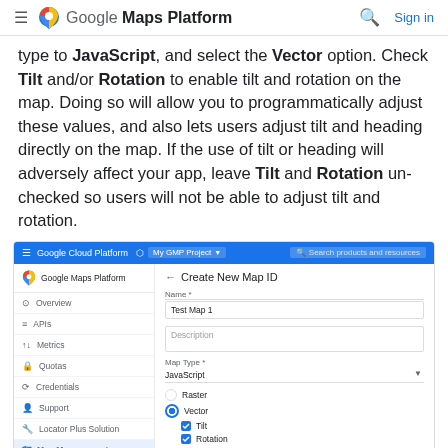Google Maps Platform — Sign in
type to JavaScript, and select the Vector option. Check Tilt and/or Rotation to enable tilt and rotation on the map. Doing so will allow you to programmatically adjust these values, and also lets users adjust tilt and heading directly on the map. If the use of tilt or heading will adversely affect your app, leave Tilt and Rotation un-checked so users will not be able to adjust tilt and rotation.
[Figure (screenshot): Google Cloud Platform screenshot showing the 'Create New Map ID' form with Name field set to 'Test Map 1', Map Type set to 'JavaScript', Vector radio selected, and Tilt and Rotation checkboxes checked.]